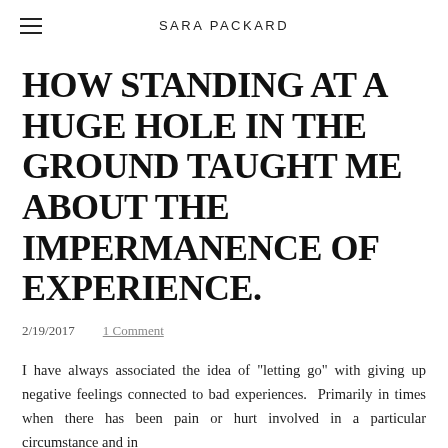SARA PACKARD
HOW STANDING AT A HUGE HOLE IN THE GROUND TAUGHT ME ABOUT THE IMPERMANENCE OF EXPERIENCE.
2/19/2017     1 Comment
I have always associated the idea of "letting go" with giving up negative feelings connected to bad experiences.  Primarily in times when there has been pain or hurt involved in a particular circumstance and in